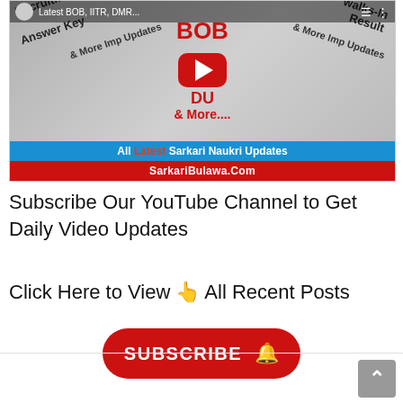[Figure (screenshot): YouTube video thumbnail for 'Latest BOB, IITR, DMR...' channel showing newspaper collage with recruitment/sarkari naukri updates, red play button, BOB DU text, blue bar with 'All Latest Sarkari Naukri Updates' and red bar with 'SarkariBulawa.Com']
Subscribe Our YouTube Channel to Get Daily Video Updates
Click Here to View 👆 All Recent Posts
[Figure (other): Red rounded rectangle SUBSCRIBE button with bell icon]